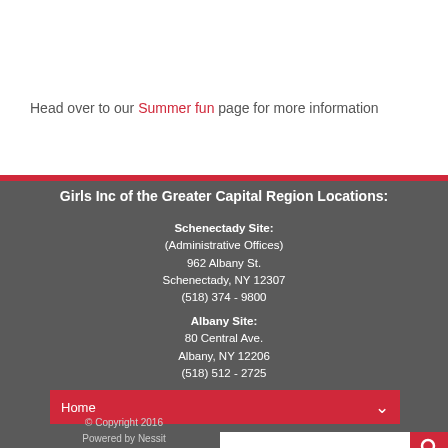Head over to our Summer fun page for more information
Girls Inc of the Greater Capital Region Locations:
Schenectady Site:
(Administrative Offices)
962 Albany St.
Schenectady, NY 12307
(518) 374 - 9800
Albany Site:
80 Central Ave.
Albany, NY 12206
(518) 512 - 2725
Home
© Copyright 2016
Powered by Nessit